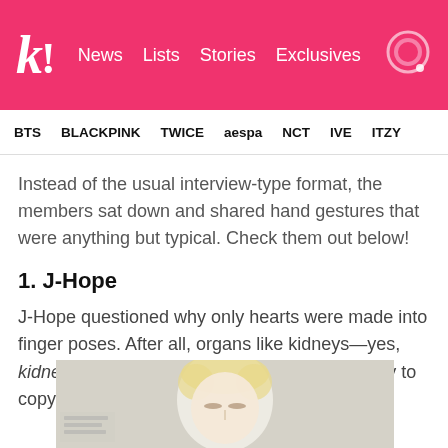k! News Lists Stories Exclusives
BTS BLACKPINK TWICE aespa NCT IVE ITZY
Instead of the usual interview-type format, the members sat down and shared hand gestures that were anything but typical. Check them out below!
1. J-Hope
J-Hope questioned why only hearts were made into finger poses. After all, organs like kidneys—yes, kidneys—and long intestines were equally easy to copy.
[Figure (photo): Photo of J-Hope with blond hair, eyes closed, visible from face/upper body]